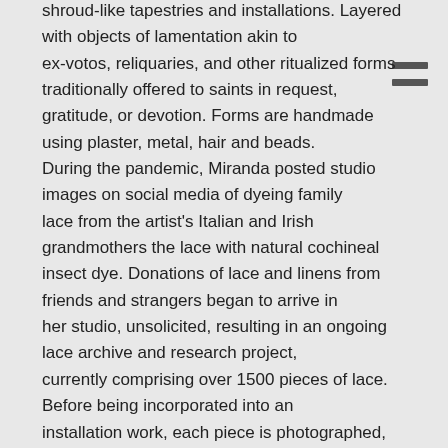shroud-like tapestries and installations. Layered with objects of lamentation akin to ex-votos, reliquaries, and other ritualized forms traditionally offered to saints in request, gratitude, or devotion. Forms are handmade using plaster, metal, hair and beads. During the pandemic, Miranda posted studio images on social media of dyeing family lace from the artist's Italian and Irish grandmothers the lace with natural cochineal insect dye. Donations of lace and linens from friends and strangers began to arrive in her studio, unsolicited, resulting in an ongoing lace archive and research project, currently comprising over 1500 pieces of lace. Before being incorporated into an installation work, each piece is photographed, measured, and collected into the archive. The offerings of lace are integral to the content of the work, tangible participation from a community which includes family, friends and strangers from